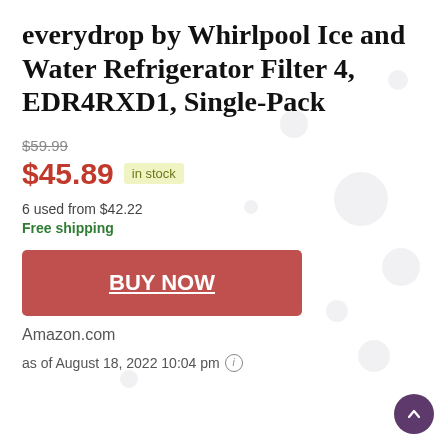everydrop by Whirlpool Ice and Water Refrigerator Filter 4, EDR4RXD1, Single-Pack
$59.99
$45.89 in stock
6 used from $42.22
Free shipping
BUY NOW
Amazon.com
as of August 18, 2022 10:04 pm